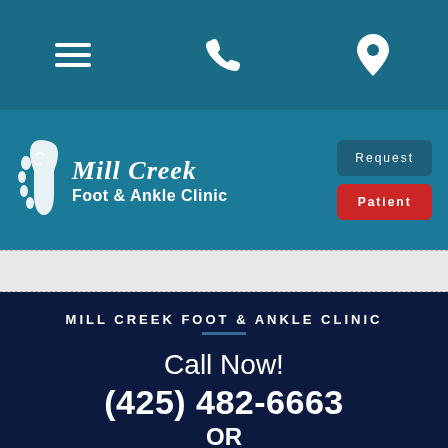[Figure (screenshot): Navigation bar with hamburger menu, phone icon, and location pin icon on teal background]
[Figure (logo): Mill Creek Foot & Ankle Clinic logo with foot icon, script and sans-serif text, Request and Patient buttons]
MILL CREEK FOOT & ANKLE CLINIC
Call Now!
(425) 482-6663
OR
(425) 375-2484
[Figure (screenshot): Social media icons: Facebook, Twitter, YouTube on dark background]